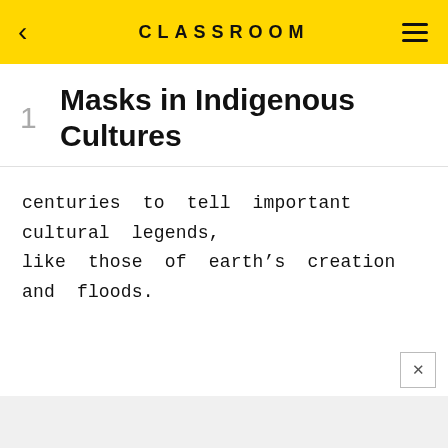CLASSROOM
1  Masks in Indigenous Cultures
centuries to tell important cultural legends, like those of earth's creation and floods.